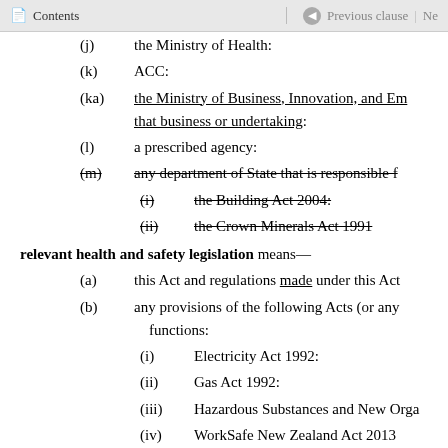Contents | Previous clause | Ne
(j) the Ministry of Health:
(k) ACC:
(ka) the Ministry of Business, Innovation, and Em... that business or undertaking:
(l) a prescribed agency:
(m) [strikethrough] any department of State that is responsible f...
(i) [strikethrough] the Building Act 2004:
(ii) [strikethrough] the Crown Minerals Act 1991
relevant health and safety legislation means—
(a) this Act and regulations made under this Act
(b) any provisions of the following Acts (or any... functions:
(i) Electricity Act 1992:
(ii) Gas Act 1992:
(iii) Hazardous Substances and New Orga
(iv) WorkSafe New Zealand Act 2013